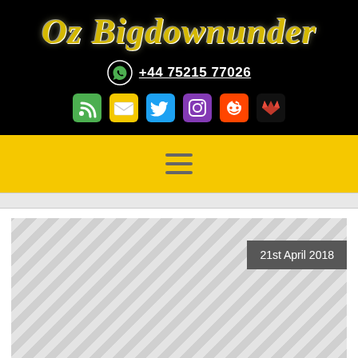Oz Bigdownunder
+44 75215 77026
[Figure (screenshot): Social media icon row: RSS (green), Email (yellow envelope), Twitter (blue), Instagram (purple), Reddit (orange-red), GitLab (red fox)]
[Figure (screenshot): Yellow navigation bar with hamburger menu icon (three horizontal lines)]
[Figure (screenshot): Diagonal striped image placeholder with a dark grey date badge reading '21st April 2018' in the upper right]